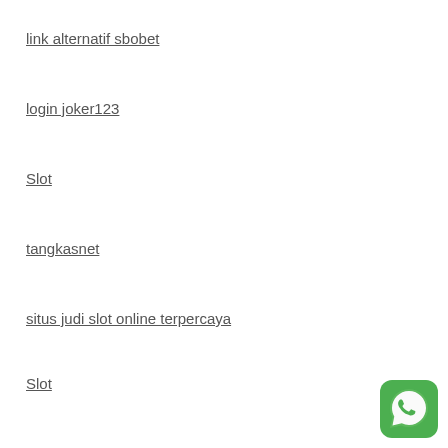link alternatif sbobet
login joker123
Slot
tangkasnet
situs judi slot online terpercaya
Slot
[Figure (logo): WhatsApp logo button (green rounded square with white phone handset icon)]